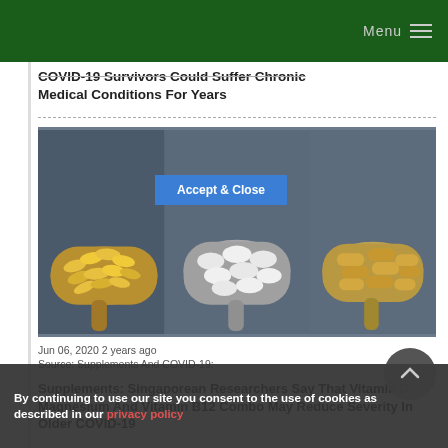Menu
COVID-19 Survivors Could Suffer Chronic Medical Conditions For Years
[Figure (photo): Three spoons holding different dietary supplements: golden fish oil capsules on the left spoon, white tablets in the middle spoon, and yellow/tan capsules on the right spoon, on a dark slate background.]
Jun 06, 2020  2 years ago
Source: Supplements And COVID-19:
Supplements: Singaporean Researchers Say That Vitamin D, Magnesium And Vitamin B12 Combo May Reduce Severity In Older COVID-19
By continuing to use our site you consent to the use of cookies as described in our privacy policy